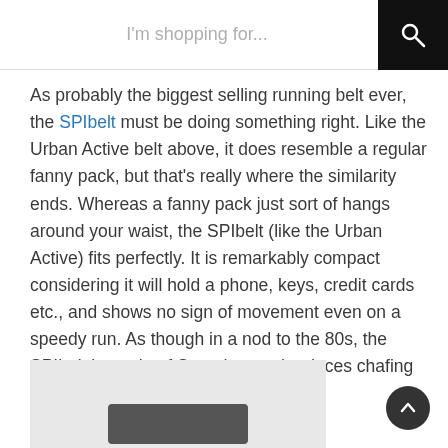I'm shopping for...
As probably the biggest selling running belt ever, the SPIbelt must be doing something right. Like the Urban Active belt above, it does resemble a regular fanny pack, but that's really where the similarity ends. Whereas a fanny pack just sort of hangs around your waist, the SPIbelt (like the Urban Active) fits perfectly. It is remarkably compact considering it will hold a phone, keys, credit cards etc., and shows no sign of movement even on a speedy run. As though in a nod to the 80s, the SPIbelt is made of Spandex, and reduces chafing considerably.
[Figure (photo): Partial image of a running belt product (SPIbelt) on a light gray background, visible at the bottom of the page.]